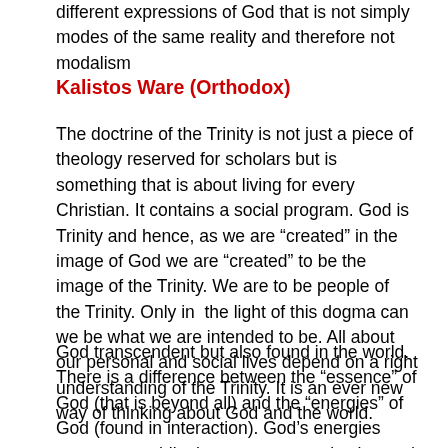different expressions of God that is not simply modes of the same reality and therefore not modalism
Kalistos Ware (Orthodox)
The doctrine of the Trinity is not just a piece of theology reserved for scholars but is something that is about living for every Christian. It contains a social program. God is Trinity and hence, as we are “created” in the image of God we are “created” to be the image of the Trinity. We are to be people of the Trinity. Only in the light of this dogma can we be what we are intended to be. All about our personal and social lives depend on a right understanding of the Trinity. It is an ever new way of thinking about God and the world.
God transcendent but also found in the world. There is a difference between the “essence” of God (that is beyond all) and the “energies” of God (found in interaction). God’s energies come to us while the essence remains beyond us.